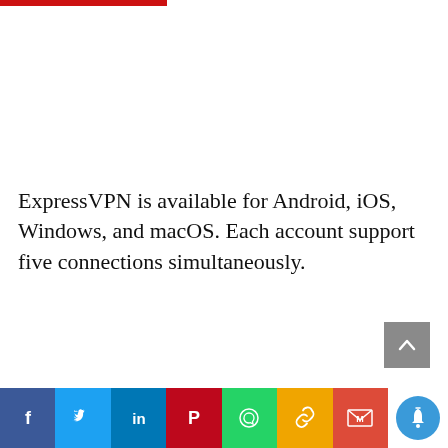[Figure (other): Red horizontal bar at the top left of the page]
ExpressVPN is available for Android, iOS, Windows, and macOS. Each account support five connections simultaneously.
[Figure (other): Gray scroll-to-top button with upward chevron arrow]
[Figure (other): Social share bar at the bottom with Facebook, Twitter, LinkedIn, Pinterest, WhatsApp, Copy Link, Gmail, and notification icons]